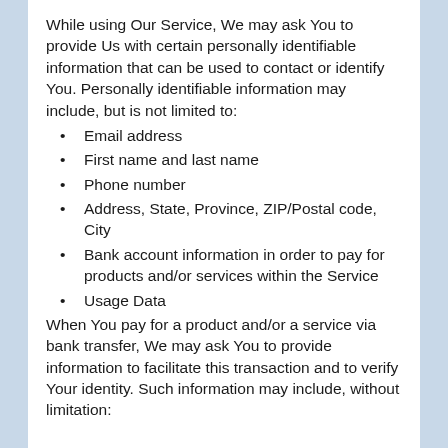While using Our Service, We may ask You to provide Us with certain personally identifiable information that can be used to contact or identify You. Personally identifiable information may include, but is not limited to:
Email address
First name and last name
Phone number
Address, State, Province, ZIP/Postal code, City
Bank account information in order to pay for products and/or services within the Service
Usage Data
When You pay for a product and/or a service via bank transfer, We may ask You to provide information to facilitate this transaction and to verify Your identity. Such information may include, without limitation: